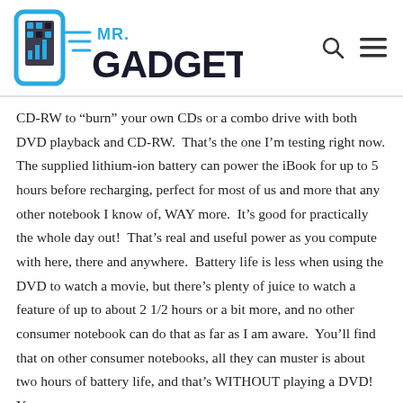MR. GADGET logo with search and menu icons
CD-RW to “burn” your own CDs or a combo drive with both DVD playback and CD-RW.  That’s the one I’m testing right now. The supplied lithium-ion battery can power the iBook for up to 5 hours before recharging, perfect for most of us and more that any other notebook I know of, WAY more.  It’s good for practically the whole day out!  That’s real and useful power as you compute with here, there and anywhere.  Battery life is less when using the DVD to watch a movie, but there’s plenty of juice to watch a feature of up to about 2 1/2 hours or a bit more, and no other consumer notebook can do that as far as I am aware.  You’ll find that on other consumer notebooks, all they can muster is about two hours of battery life, and that’s WITHOUT playing a DVD!  You